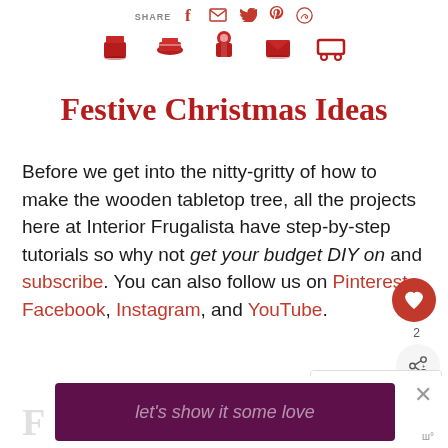SHARE [social icons: Facebook, Email, Twitter, Pinterest, WhatsApp]
[Figure (illustration): Row of five red Christmas-themed icons: mug/gift containers, Santa torso, packet]
Festive Christmas Ideas
Before we get into the nitty-gritty of how to make the wooden tabletop tree, all the projects here at Interior Frugalista have step-by-step tutorials so why not get your budget DIY on and subscribe. You can also follow us on Pinterest, Facebook, Instagram, and YouTube.
WHAT'S NEXT → Recycled Scarf Buffa...
[Figure (screenshot): Ad banner: let's show it some love]